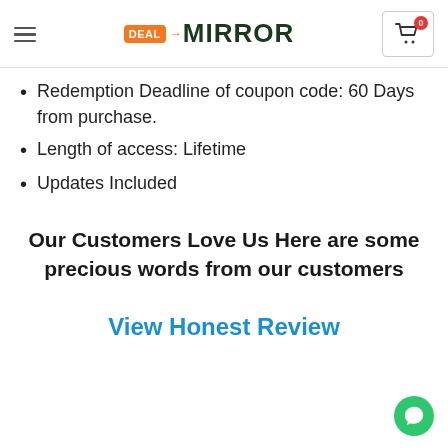Deal Mirror — navigation header with logo and cart
Redemption Deadline of coupon code: 60 Days from purchase.
Length of access: Lifetime
Updates Included
Our Customers Love Us Here are some precious words from our customers
View Honest Review